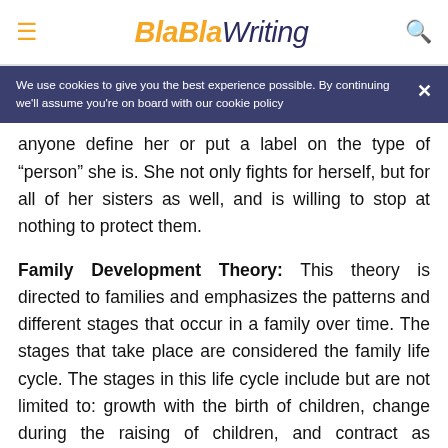BlaBlaWriting
We use cookies to give you the best experience possible. By continuing we'll assume you're on board with our cookie policy
anyone define her or put a label on the type of “person” she is. She not only fights for herself, but for all of her sisters as well, and is willing to stop at nothing to protect them.
Family Development Theory: This theory is directed to families and emphasizes the patterns and different stages that occur in a family over time. The stages that take place are considered the family life cycle. The stages in this life cycle include but are not limited to: growth with the birth of children, change during the raising of children, and contract as children leave and spouses die. There are definitely stages that are in between these above ideas. Whatever happens within the lifespan of the family are